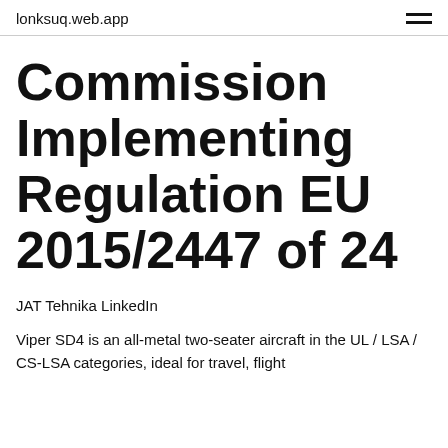lonksuq.web.app
Commission Implementing Regulation EU 2015/2447 of 24
JAT Tehnika LinkedIn
Viper SD4 is an all-metal two-seater aircraft in the UL / LSA / CS-LSA categories, ideal for travel, flight